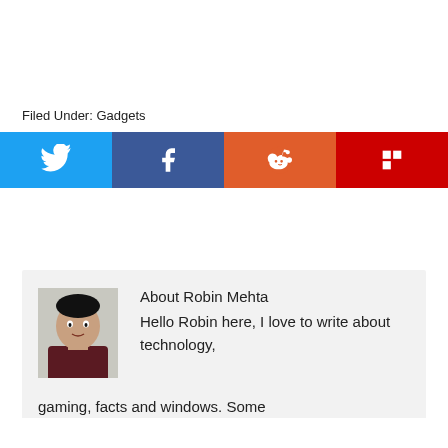Filed Under: Gadgets
Tagged With: qualcomm phone, qualcomm smartphone, qualcomm snapdragon, snapdragon 855 phones, snapdragon phones
About Robin Mehta
Hello Robin here, I love to write about technology, gaming, facts and windows. Some
[Figure (other): Social share bar with Twitter, Facebook, Reddit, and Flipboard buttons]